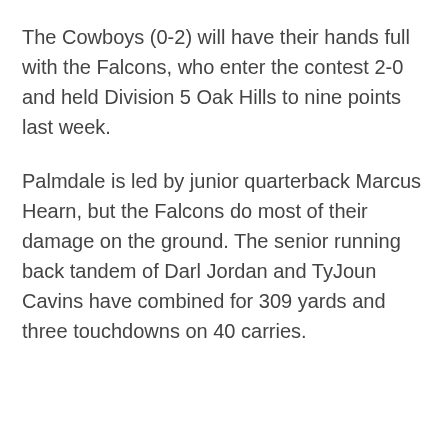The Cowboys (0-2) will have their hands full with the Falcons, who enter the contest 2-0 and held Division 5 Oak Hills to nine points last week.
Palmdale is led by junior quarterback Marcus Hearn, but the Falcons do most of their damage on the ground. The senior running back tandem of Darl Jordan and TyJoun Cavins have combined for 309 yards and three touchdowns on 40 carries.